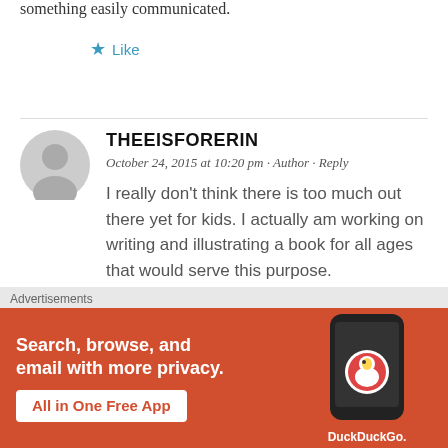something easily communicated.
★ Like
THEEISFORERIN
October 24, 2015 at 10:20 pm · Author · Reply
I really don't think there is too much out there yet for kids. I actually am working on writing and illustrating a book for all ages that would serve this purpose.
[Figure (screenshot): DuckDuckGo advertisement banner with orange background, phone image, and text: Search, browse, and email with more privacy. All in One Free App. DuckDuckGo.]